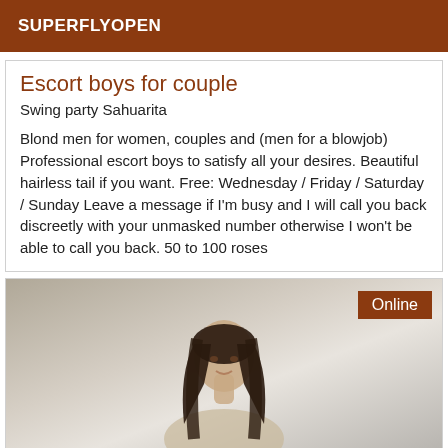SUPERFLYOPEN
Escort boys for couple
Swing party Sahuarita
Blond men for women, couples and (men for a blowjob) Professional escort boys to satisfy all your desires. Beautiful hairless tail if you want. Free: Wednesday / Friday / Saturday / Sunday Leave a message if I'm busy and I will call you back discreetly with your unmasked number otherwise I won't be able to call you back. 50 to 100 roses
[Figure (photo): Photo of a young woman with long dark hair, shown from shoulders up, light background, with an 'Online' badge in the top right corner]